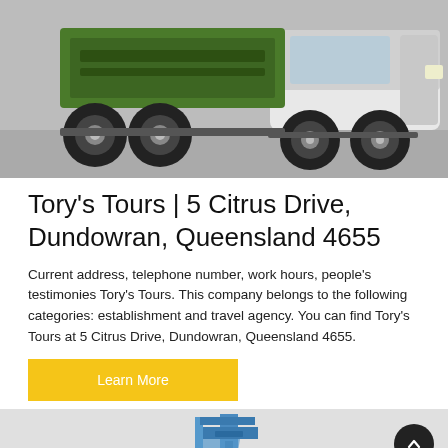[Figure (photo): Green and white heavy truck/mixer vehicle photographed on a concrete surface, viewed from the side/front-left angle showing large wheels and cab.]
Tory's Tours | 5 Citrus Drive, Dundowran, Queensland 4655
Current address, telephone number, work hours, people's testimonies Tory's Tours. This company belongs to the following categories: establishment and travel agency. You can find Tory's Tours at 5 Citrus Drive, Dundowran, Queensland 4655.
Learn More
[Figure (photo): Blue industrial machinery/crane equipment on a light grey background, partially visible at bottom of page. A dark circular scroll-to-top button is visible in the bottom right corner.]